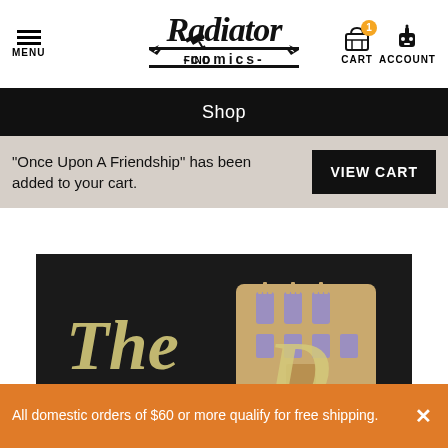[Figure (logo): Radiator Comics logo with hamburger menu, find/telescope icon, shopping cart with badge count 1, and robot/account icon in site header]
Shop
“Once Upon A Friendship” has been added to your cart.
[Figure (screenshot): VIEW CART button (black rectangle with white bold text)]
[Figure (illustration): Partial illustration on dark background showing stylized cartoon text and building with purple windows, cream/yellow tones]
All domestic orders of $60 or more qualify for free shipping.